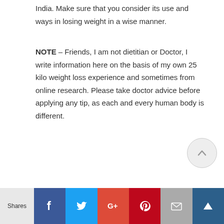India. Make sure that you consider its use and ways in losing weight in a wise manner.
NOTE – Friends, I am not dietitian or Doctor, I write information here on the basis of my own 25 kilo weight loss experience and sometimes from online research. Please take doctor advice before applying any tip, as each and every human body is different.
Shares [Facebook] [Twitter] [Google+] [Pinterest] [Email] [Crown]